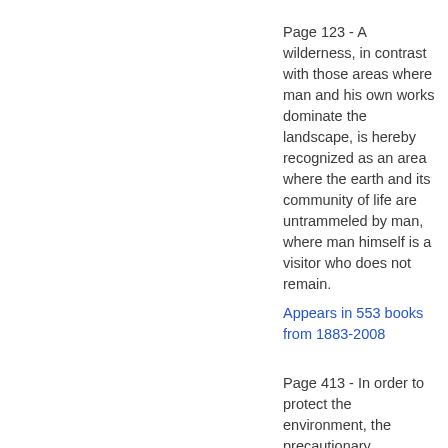Page 123 - A wilderness, in contrast with those areas where man and his own works dominate the landscape, is hereby recognized as an area where the earth and its community of life are untrammeled by man, where man himself is a visitor who does not remain.
Appears in 553 books from 1883-2008
Page 413 - In order to protect the environment, the precautionary approach shall be widely applied by States according to their capabilities. Where there are threats of serious or